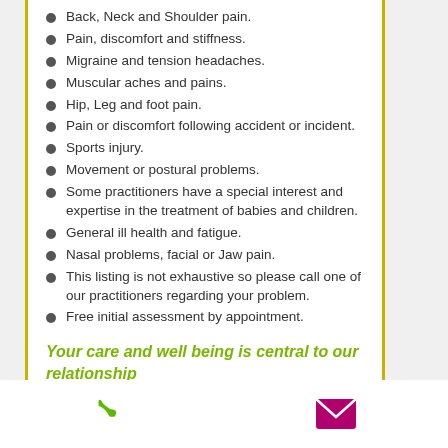Back, Neck and Shoulder pain.
Pain, discomfort and stiffness.
Migraine and tension headaches.
Muscular aches and pains.
Hip, Leg and foot pain.
Pain or discomfort following accident or incident.
Sports injury.
Movement or postural problems.
Some practitioners have a special interest and expertise in the treatment of babies and children.
General ill health and fatigue.
Nasal problems, facial or Jaw pain.
This listing is not exhaustive so please call one of our practitioners regarding your problem.
Free initial assessment by appointment.
Your care and well being is central to our relationship
[Figure (infographic): Phone icon (green) and email envelope icon (magenta/purple) at the bottom of the page]